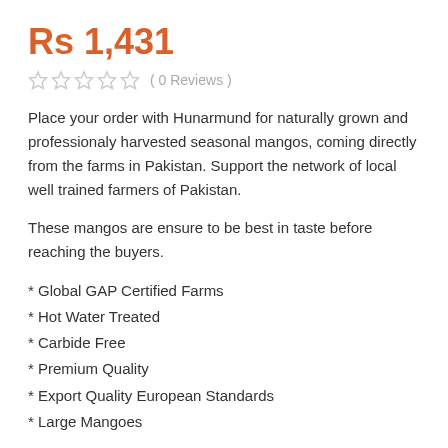Rs 1,431
( 0 Reviews )
Place your order with Hunarmund for naturally grown and professionaly harvested seasonal mangos, coming directly from the farms in Pakistan. Support the network of local well trained farmers of Pakistan.
These mangos are ensure to be best in taste before reaching the buyers.
* Global GAP Certified Farms
* Hot Water Treated
* Carbide Free
* Premium Quality
* Export Quality European Standards
* Large Mangoes